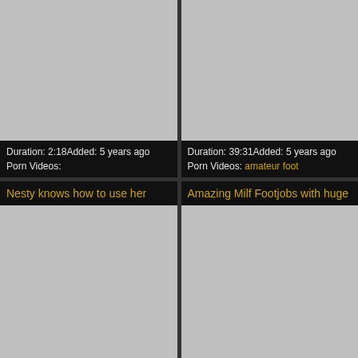[Figure (screenshot): Gray thumbnail placeholder for video 1]
Duration: 2:18Added: 5 years ago
Porn Videos:
[Figure (screenshot): Gray thumbnail placeholder for video 2]
Duration: 39:31Added: 5 years ago
Porn Videos: amateur foot
Nesty knows how to use her
Amazing Milf Footjobs with huge
[Figure (screenshot): Gray thumbnail placeholder for video 3]
[Figure (screenshot): Gray thumbnail placeholder for video 4]